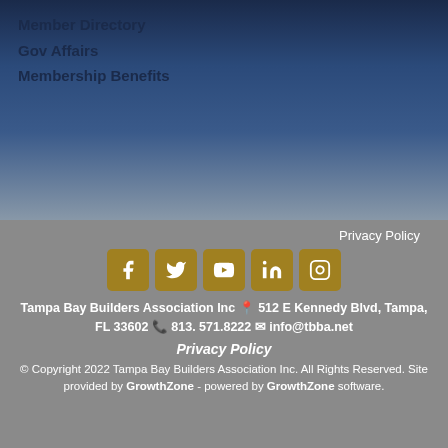Member Directory
Gov Affairs
Membership Benefits
Privacy Policy
[Figure (other): Row of five gold social media icon buttons: Facebook, Twitter, YouTube, LinkedIn, Instagram]
Tampa Bay Builders Association Inc  512 E Kennedy Blvd, Tampa, FL 33602  813. 571.8222  info@tbba.net
Privacy Policy
© Copyright 2022 Tampa Bay Builders Association Inc. All Rights Reserved. Site provided by GrowthZone - powered by GrowthZone software.